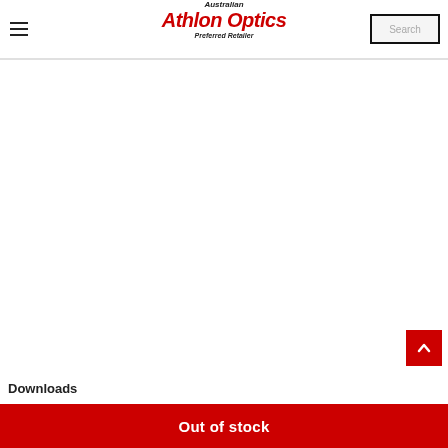Australian Athlon Optics Preferred Retailer
[Figure (screenshot): Empty white content area of a product page]
Downloads
Out of stock